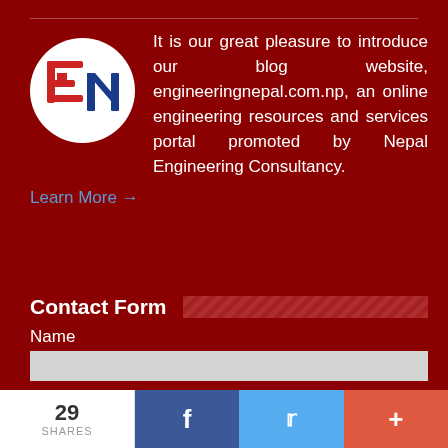[Figure (logo): Engineering Nepal logo: circular white background with stylized 'en' letters in red and blue]
It is our great pleasure to introduce our blog website, engineeringnepal.com.np, an online engineering resources and services portal promoted by Nepal Engineering Consultancy.
Learn More →
Contact Form
Name
Email *
29 SHARES